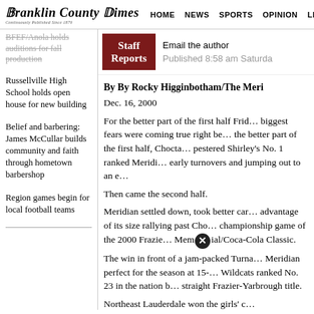Franklin County Times | HOME | NEWS | SPORTS | OPINION | LIFESTYLES
BFEF/Anola holds auditions for fall production
Russellville High School holds open house for new building
Belief and barbering: James McCullar builds community and faith through hometown barbershop
Region games begin for local football teams
Staff Reports
Email the author
Published 8:58 am Saturday
By By Rocky Higginbotham/The Meridian Star
Dec. 16, 2000
For the better part of the first half Friday, biggest fears were coming true right before the better part of the first half, Choctaw pestered Shirley's No. 1 ranked Meridian early turnovers and jumping out to an early lead. Then came the second half.
Meridian settled down, took better care, advantage of its size rallying past Choctaw championship game of the 2000 Frazier Memorial/Coca-Cola Classic.
The win in front of a jam-packed Turnage made Meridian perfect for the season at 15- Wildcats ranked No. 23 in the nation by straight Frazier-Yarbrough title.
Northeast Lauderdale won the girls' championship.